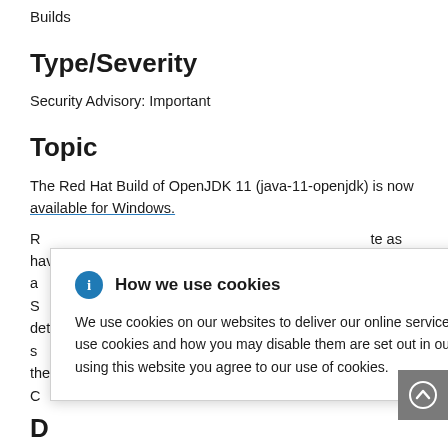Builds
Type/Severity
Security Advisory: Important
Topic
The Red Hat Build of OpenJDK 11 (java-11-openjdk) is now available for Windows.
R[partially hidden] ...te as having a[partially hidden] ...lnerability S[partially hidden] ...ves a detailed s[partially hidden] ...lity from the C[partially hidden]
D[partially hidden]
The OpenJDK 11 packages provide the OpenJDK 11 Java
[Figure (infographic): Cookie consent popup overlay with info icon, title 'How we use cookies', close button, body text about cookie usage with Privacy Statement link, and a back-to-top arrow button in bottom right.]